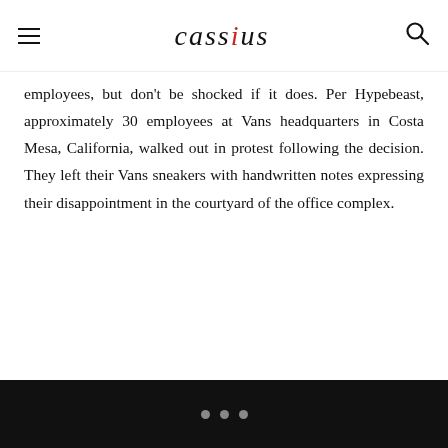cassius
employees, but don't be shocked if it does. Per Hypebeast, approximately 30 employees at Vans headquarters in Costa Mesa, California, walked out in protest following the decision. They left their Vans sneakers with handwritten notes expressing their disappointment in the courtyard of the office complex.